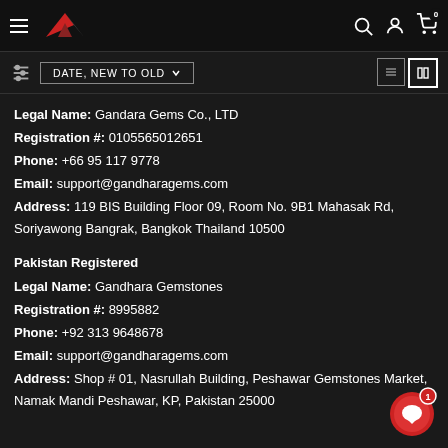Gandara Gems website header with hamburger menu, logo, search, account, and cart icons
DATE, NEW TO OLD (sort dropdown)
Legal Name: Gandara Gems Co., LTD
Registration #: 0105565012651
Phone: +66 95 117 9778
Email: support@gandharagems.com
Address: 119 BIS Building Floor 09, Room No. 9B1 Mahasak Rd, Soriyawong Bangrak, Bangkok Thailand 10500
Pakistan Registered
Legal Name: Gandhara Gemstones
Registration #: 8995882
Phone: +92 313 9648678
Email: support@gandharagems.com
Address: Shop # 01, Nasrullah Building, Peshawar Gemstones Market, Namak Mandi Peshawar, KP, Pakistan 25000